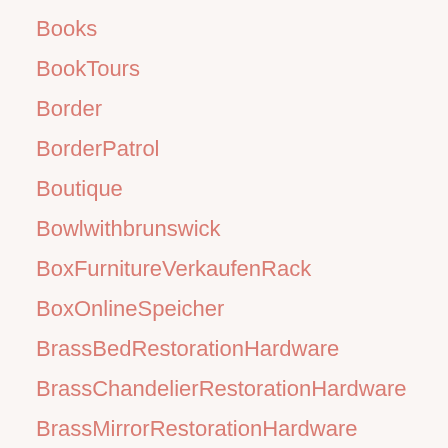Books
BookTours
Border
BorderPatrol
Boutique
Bowlwithbrunswick
BoxFurnitureVerkaufenRack
BoxOnlineSpeicher
BrassBedRestorationHardware
BrassChandelierRestorationHardware
BrassMirrorRestorationHardware
BrassRestorationHardware
Bread
bridalhanger
BrowseExtension